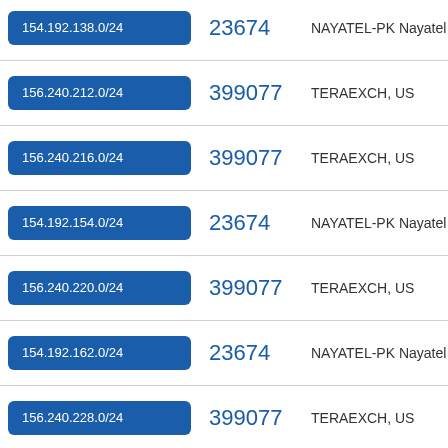| IP Range | ASN | Organization |
| --- | --- | --- |
| 154.192.138.0/24 | 23674 | NAYATEL-PK Nayatel Pvt Ltd |
| 156.240.212.0/24 | 399077 | TERAEXCH, US |
| 156.240.216.0/24 | 399077 | TERAEXCH, US |
| 154.192.154.0/24 | 23674 | NAYATEL-PK Nayatel Pvt Ltd |
| 156.240.220.0/24 | 399077 | TERAEXCH, US |
| 154.192.162.0/24 | 23674 | NAYATEL-PK Nayatel Pvt Ltd |
| 156.240.228.0/24 | 399077 | TERAEXCH, US |
| (partial) | (partial) | DXTL-HK DXTL Tseung Kwa... |